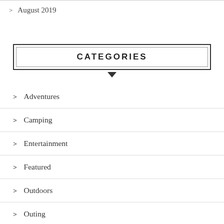> August 2019
CATEGORIES
> Adventures
> Camping
> Entertainment
> Featured
> Outdoors
> Outing
> Resorts